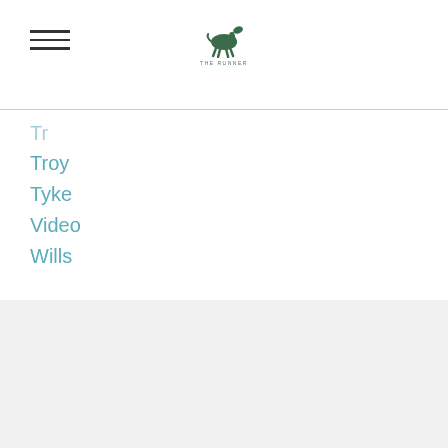[hamburger menu] [logo: running horse illustration with text]
Tr
Troy
Tyke
Video
Wills
RSS Feed